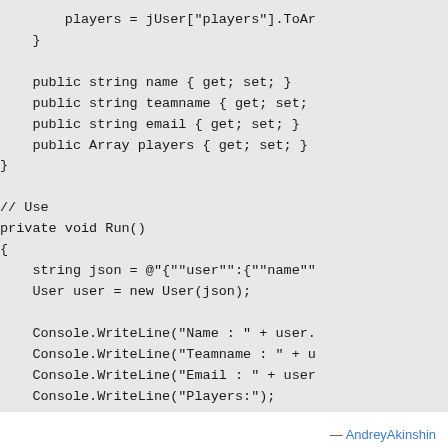players = jUser["players"].ToAr
    }

    public string name { get; set; }
    public string teamname { get; set;
    public string email { get; set; }
    public Array players { get; set; }
}

// Use
private void Run()
{
    string json = @"{""user"":{""name""
    User user = new User(json);

    Console.WriteLine("Name : " + user.
    Console.WriteLine("Teamname : " + u
    Console.WriteLine("Email : " + user
    Console.WriteLine("Players:");
— AndreyAkinshin